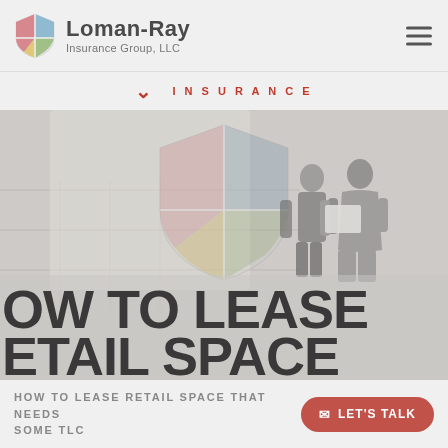Loman-Ray Insurance Group, LLC
INSURANCE
[Figure (photo): Hero image showing two business professionals reviewing documents in an office, overlaid with the Loman-Ray shield logo watermark and large text reading HOW TO LEASE RETAIL SPACE]
HOW TO LEASE RETAIL SPACE THAT NEEDS SOME TLC